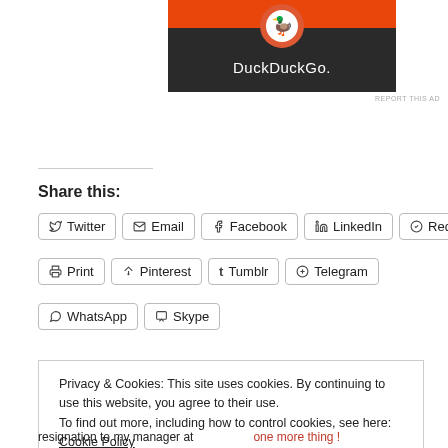[Figure (screenshot): DuckDuckGo advertisement image with orange and dark background showing DuckDuckGo logo and text]
REPORT THIS AD
Share this:
Twitter
Email
Facebook
LinkedIn
Reddit
Print
Pinterest
Tumblr
Telegram
WhatsApp
Skype
Privacy & Cookies: This site uses cookies. By continuing to use this website, you agree to their use.
To find out more, including how to control cookies, see here:
Cookie Policy
Close and accept
resignation to my manager at
one more thing !